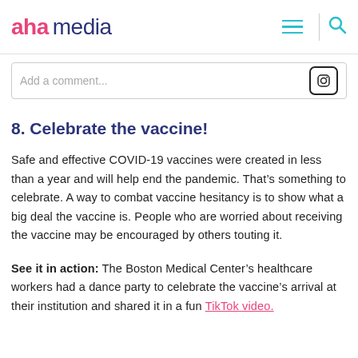aha media
[Figure (screenshot): Instagram comment input bar with 'Add a comment...' placeholder text and Instagram icon on the right]
8. Celebrate the vaccine!
Safe and effective COVID-19 vaccines were created in less than a year and will help end the pandemic. That’s something to celebrate. A way to combat vaccine hesitancy is to show what a big deal the vaccine is. People who are worried about receiving the vaccine may be encouraged by others touting it.
See it in action: The Boston Medical Center’s healthcare workers had a dance party to celebrate the vaccine’s arrival at their institution and shared it in a fun TikTok video.